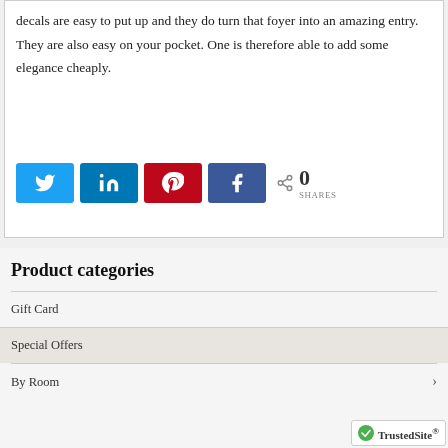decals are easy to put up and they do turn that foyer into an amazing entry. They are also easy on your pocket. One is therefore able to add some elegance cheaply.
[Figure (infographic): Social sharing buttons: Twitter (blue), LinkedIn (blue), Pinterest (red), Facebook (purple), with share count showing 0 SHARES]
Product categories
Gift Card
Special Offers
By Room
[Figure (logo): TrustedSite badge with green checkmark]